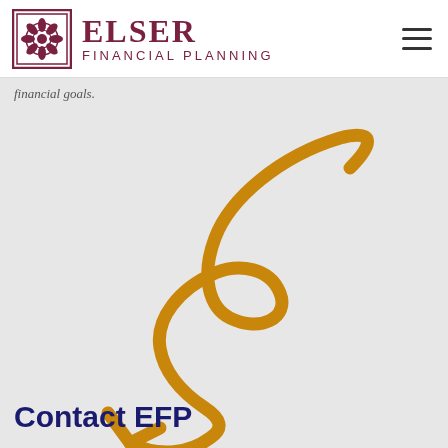ELSER FINANCIAL PLANNING
financial goals.
[Figure (illustration): Decorative hand-drawn style golden/amber cursive flourish arrow curling around itself and pointing downward-left]
Contact EFP